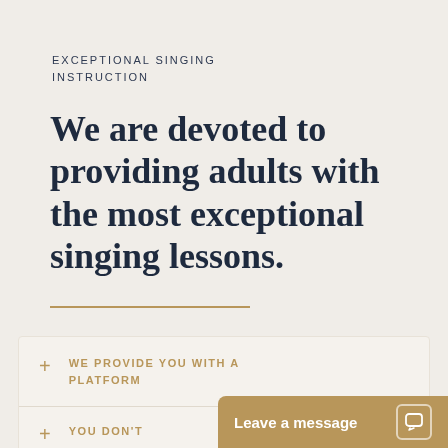EXCEPTIONAL SINGING INSTRUCTION
We are devoted to providing adults with the most exceptional singing lessons.
+ WE PROVIDE YOU WITH A PLATFORM
+ YOU DON'T
Leave a message